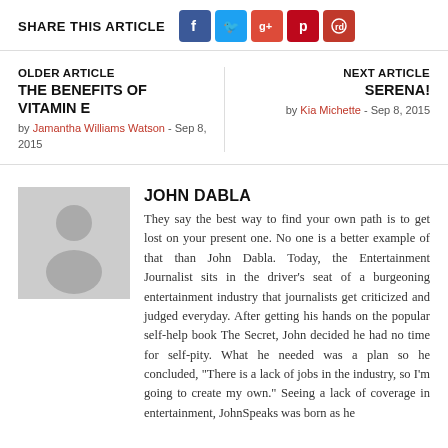SHARE THIS ARTICLE
[Figure (other): Social media share icons: Facebook, Twitter, Google+, Pinterest, Reddit]
OLDER ARTICLE
THE BENEFITS OF VITAMIN E
by Jamantha Williams Watson - Sep 8, 2015
NEXT ARTICLE
SERENA!
by Kia Michette - Sep 8, 2015
JOHN DABLA
They say the best way to find your own path is to get lost on your present one. No one is a better example of that than John Dabla. Today, the Entertainment Journalist sits in the driver's seat of a burgeoning entertainment industry that journalists get criticized and judged everyday.  After getting his hands on the popular self-help book The Secret, John decided he had no time for self-pity. What he needed was a plan so he concluded, "There is a lack of jobs in the industry, so I'm going to create my own."  Seeing a lack of coverage in entertainment, JohnSpeaks was born as he